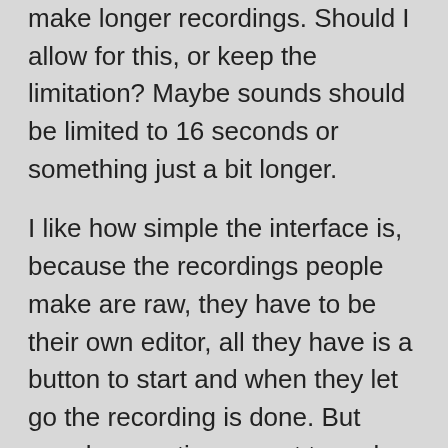make longer recordings. Should I allow for this, or keep the limitation? Maybe sounds should be limited to 16 seconds or something just a bit longer.
I like how simple the interface is, because the recordings people make are raw, they have to be their own editor, all they have is a button to start and when they let go the recording is done. But people sometimes want to make a longer recording and then trim them down after, similar to Instagram. In the process, they could even add effects, samples, and/or mix/stitch multiple recordings together to create their audio graffiti. I think I could do it with something like EZ-Audio and an NSNotification (for ios at least). This has the